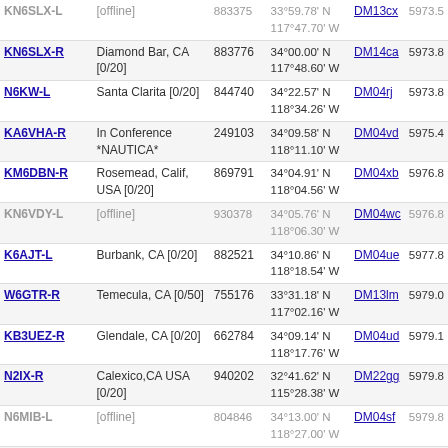| Callsign | Location | Node | Coordinates | Grid | Freq |
| --- | --- | --- | --- | --- | --- |
| KN6SLX-L | [offline] | 883375 | 33°59.78' N 117°47.70' W | DM13cx | 5973.5 |
| KN6SLX-R | Diamond Bar, CA [0/20] | 883776 | 34°00.00' N 117°48.60' W | DM14ca | 5973.8 |
| N6KW-L | Santa Clarita [0/20] | 844740 | 34°22.57' N 118°34.26' W | DM04rj | 5973.8 |
| KA6VHA-R | In Conference *NAUTICA* | 249103 | 34°09.58' N 118°11.10' W | DM04vd | 5975.4 |
| KM6DBN-R | Rosemead, Calif, USA [0/20] | 869791 | 34°04.91' N 118°04.56' W | DM04xb | 5976.8 |
| KN6VDY-L | [offline] | 930378 | 34°05.76' N 118°06.30' W | DM04wc | 5976.8 |
| K6AJT-L | Burbank, CA [0/20] | 882521 | 34°10.86' N 118°18.54' W | DM04ue | 5977.8 |
| W6GTR-R | Temecula, CA [0/50] | 755176 | 33°31.18' N 117°02.16' W | DM13lm | 5979.0 |
| KB3UEZ-R | Glendale, CA [0/20] | 662784 | 34°09.14' N 118°17.76' W | DM04ud | 5979.1 |
| N2IX-R | Calexico,CA USA [0/20] | 940202 | 32°41.62' N 115°28.38' W | DM22gg | 5979.8 |
| N6MIB-L | [offline] | 804846 | 34°13.00' N 118°27.00' W | DM04sf | 5979.8 |
| N6MDN-L | San Luis Obispo, CA [0/20] | 765768 | 35°15.98' N 120°42.06' W | CM95pg | 5981.4 |
| K6MIB-L | Whittier, CA [0/20] | 886022 | 33°58.62' N 118°01.80' W | DM03xx | 5981.6 |